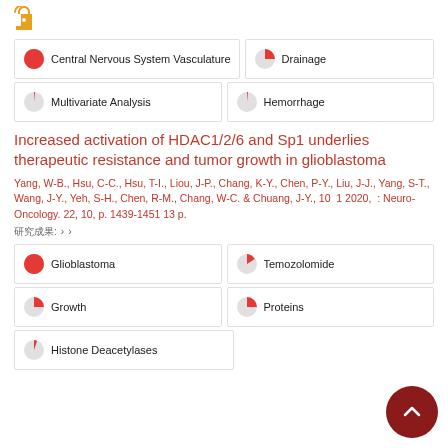[Figure (other): Open access icon (orange lock symbol)]
Central Nervous System Vasculature (100%)
Drainage (50%)
Multivariate Analysis (9%)
Hemorrhage (9%)
Increased activation of HDAC1/2/6 and Sp1 underlies therapeutic resistance and tumor growth in glioblastoma
Yang, W-B., Hsu, C-C., Hsu, T-I., Liou, J-P., Chang, K-Y., Chen, P-Y., Liu, J-J., Yang, S-T., Wang, J-Y., Yeh, S-H., Chen, R-M., Chang, W-C. & Chuang, J-Y., 10 1 2020, : Neuro-Oncology. 22, 10, p. 1439-1451 13 p.
研究成果: 期刊 › 期刊
Glioblastoma (100%)
Temozolomide (75%)
Growth (50%)
Proteins (50%)
Histone Deacetylases (30%)